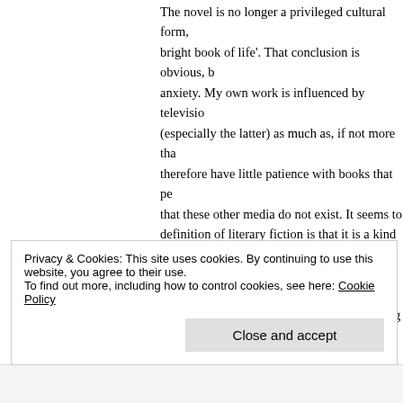The novel is no longer a privileged cultural form, nor a 'bright book of life'. That conclusion is obvious, but odd anxiety. My own work is influenced by television and film (especially the latter) as much as, if not more than, and therefore have little patience with books that pretend that these other media do not exist. It seems to me that definition of literary fiction is that it is a kind of autonomy, and therefore its own cultural significance, apparent in its commitment to the idea of language— literary fiction is sold to us as 'beautifully written', that kind of book 'says nothing to me about my life', inherently suspicious of people who are trying to their language is.
Privacy & Cookies: This site uses cookies. By continuing to use this website, you agree to their use.
To find out more, including how to control cookies, see here: Cookie Policy